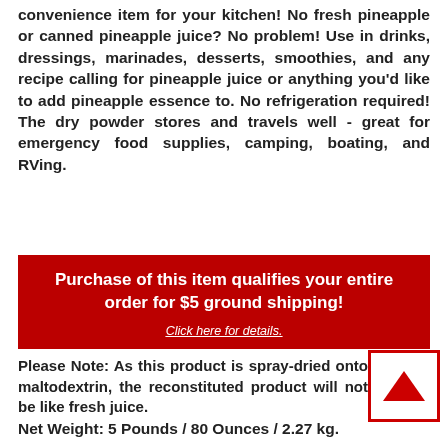convenience item for your kitchen! No fresh pineapple or canned pineapple juice? No problem! Use in drinks, dressings, marinades, desserts, smoothies, and any recipe calling for pineapple juice or anything you'd like to add pineapple essence to. No refrigeration required! The dry powder stores and travels well - great for emergency food supplies, camping, boating, and RVing.
Purchase of this item qualifies your entire order for $5 ground shipping! Click here for details.
Please Note: As this product is spray-dried onto maltodextrin, the reconstituted product will not be like fresh juice.
Net Weight: 5 Pounds / 80 Ounces / 2.27 kg.